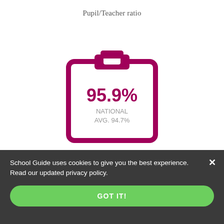Pupil/Teacher ratio
[Figure (infographic): Clipboard icon with 95.9% in large magenta text and 'NATIONAL AVG. 94.7%' in grey below it]
Attendance during the year
School Guide uses cookies to give you the best experience. Read our updated privacy policy.
GOT IT!